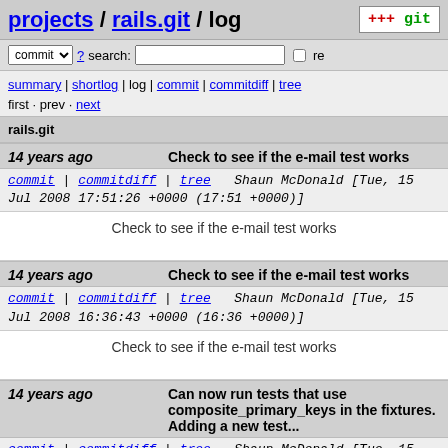projects / rails.git / log
commit ? search: re
summary | shortlog | log | commit | commitdiff | tree
first · prev · next
rails.git
14 years ago   Check to see if the e-mail test works
commit | commitdiff | tree   Shaun McDonald [Tue, 15 Jul 2008 17:51:26 +0000 (17:51 +0000)]
Check to see if the e-mail test works
14 years ago   Check to see if the e-mail test works
commit | commitdiff | tree   Shaun McDonald [Tue, 15 Jul 2008 16:36:43 +0000 (16:36 +0000)]
Check to see if the e-mail test works
14 years ago   Can now run tests that use composite_primary_keys in the fixtures. Adding a new test...
commit | commitdiff | tree   Shaun McDonald [Tue, 15 Jul 2008 15:51:45 +0000 (15:51 +0000)]